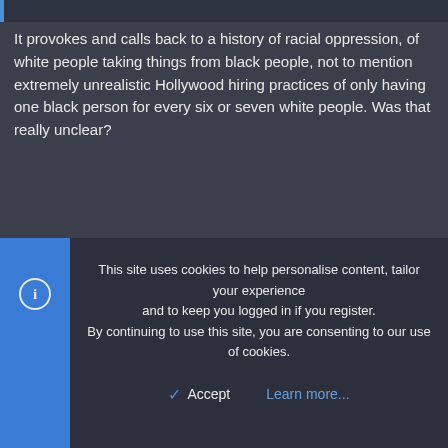It provokes and calls back to a history of racial oppression, of white people taking things from black people, not to mention extremely unrealistic Hollywood hiring practices of only having one black person for every six or seven white people. Was that really unclear?
Alek_the_Great said:
But movies are just as much as a visual medium as comics, maybe even more so.
They're still not comics. They do not have the same needs, techniques, creators, or audiences.
Alek_the_Great said:
This site uses cookies to help personalise content, tailor your experience and to keep you logged in if you register.
By continuing to use this site, you are consenting to our use of cookies.